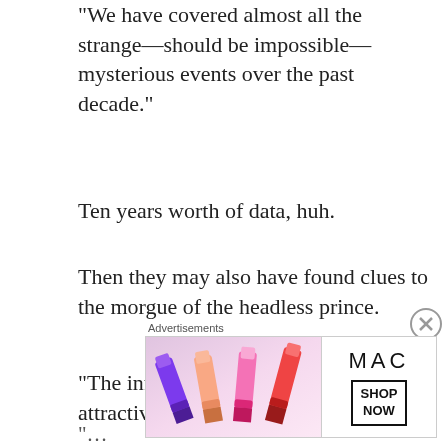“We have covered almost all the strange—should be impossible—mysterious events over the past decade.”
Ten years worth of data, huh.
Then they may also have found clues to the morgue of the headless prince.
“The information on that scale is attractive…”
“…
[Figure (other): MAC cosmetics advertisement banner with lipsticks and SHOP NOW button]
Advertisements